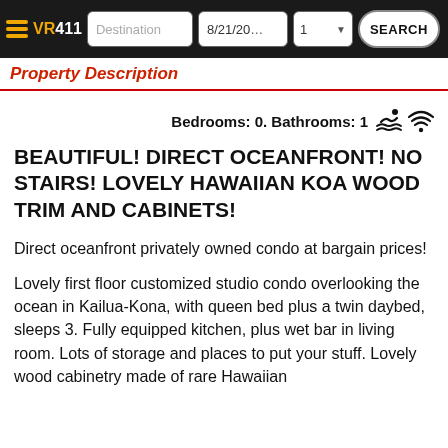VR411 | Destination | 8/21/20... | 1 | SEARCH
Property Description
Bedrooms: 0. Bathrooms: 1
BEAUTIFUL! DIRECT OCEANFRONT! NO STAIRS! LOVELY HAWAIIAN KOA WOOD TRIM AND CABINETS!
Direct oceanfront privately owned condo at bargain prices!
Lovely first floor customized studio condo overlooking the ocean in Kailua-Kona, with queen bed plus a twin daybed, sleeps 3. Fully equipped kitchen, plus wet bar in living room. Lots of storage and places to put your stuff. Lovely wood cabinetry made of rare Hawaiian